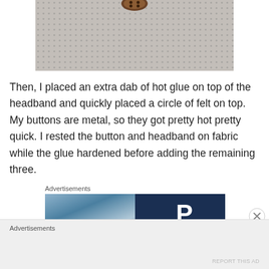[Figure (photo): Close-up photo of a fabric/canvas texture with dotted pattern, showing a button headband craft project. A brown/metal button is visible at the top center.]
Then, I placed an extra dab of hot glue on top of the headband and quickly placed a circle of felt on top. My buttons are metal, so they got pretty hot pretty quick. I rested the button and headband on fabric while the glue hardened before adding the remaining three.
Advertisements
[Figure (screenshot): Advertisement banner showing a split image: left side with a blurred outdoor/vehicle photo, right side with dark navy background and a large white letter P.]
Advertisements